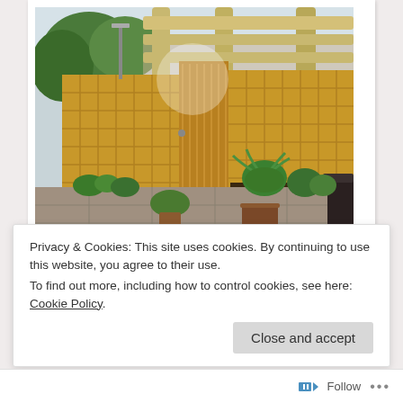[Figure (photo): A small courtyard garden with wooden trellis panels forming privacy screens, red brick raised planters with green plants and ferns, stone paving slabs on the floor, and a pergola structure overhead with wooden beams. A gate is visible in the center trellis panel.]
Making the best of small spaces!
Privacy & Cookies: This site uses cookies. By continuing to use this website, you agree to their use.
To find out more, including how to control cookies, see here: Cookie Policy
Close and accept
Follow